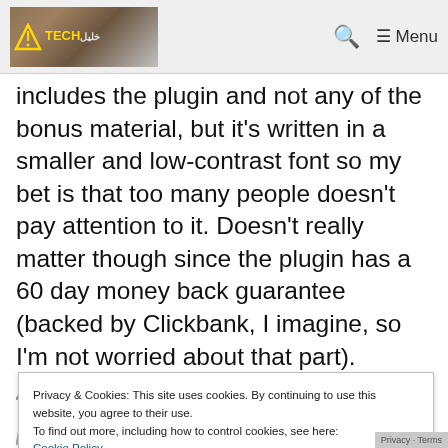TECH [logo]  🔍  ≡ Menu
includes the plugin and not any of the bonus material, but it's written in a smaller and low-contrast font so my bet is that too many people doesn't pay attention to it. Doesn't really matter though since the plugin has a 60 day money back guarantee (backed by Clickbank, I imagine, so I'm not worried about that part).
Another interesting note is that the $10
Privacy & Cookies: This site uses cookies. By continuing to use this website, you agree to their use.
To find out more, including how to control cookies, see here:
Cookie Policy
page without buying – and every time I'm being told "one package left" and "we on…"